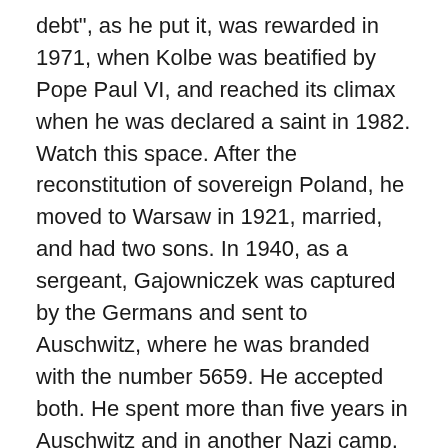debt", as he put it, was rewarded in 1971, when Kolbe was beatified by Pope Paul VI, and reached its climax when he was declared a saint in 1982. Watch this space. After the reconstitution of sovereign Poland, he moved to Warsaw in 1921, married, and had two sons. In 1940, as a sergeant, Gajowniczek was captured by the Germans and sent to Auschwitz, where he was branded with the number 5659. He accepted both. He spent more than five years in Auschwitz and in another Nazi camp, Sachenhausen. The Man He Sacrificed for Lived to 94 Franciszek Gajowniczek, the man that Kolbe had stood in for, survived the Holocaust and died in Brzeg in 1995. Ten prisoners were chosen at random to be starved to death. Kolbe volunteered to take his place. He survived the camp, and he was able to go back home to his family after the war. To the self-sacrifice of a Polish Franciscan priest in Auschwitz